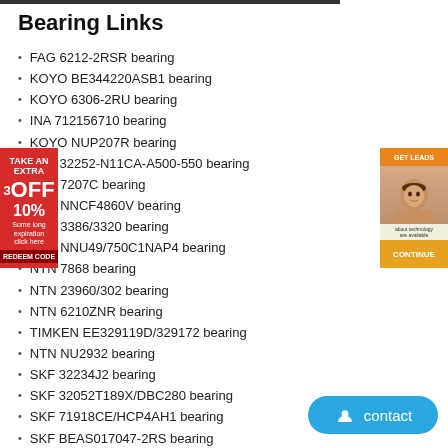Bearing Links
FAG 6212-2RSR bearing
KOYO BE344220ASB1 bearing
KOYO 6306-2RU bearing
INA 712156710 bearing
KOYO NUP207R bearing
FAG 32252-N11CA-A500-550 bearing
NTN 7207C bearing
NSK NNCF4860V bearing
NSK 3386/3320 bearing
NTN NNU49/750C1NAP4 bearing
NTN 7868 bearing
NTN 23960/302 bearing
NTN 6210ZNR bearing
TIMKEN EE329119D/329172 bearing
NTN NU2932 bearing
SKF 32234J2 bearing
SKF 32052T189X/DBC280 bearing
SKF 71918CE/HCP4AH1 bearing
SKF BEAS017047-2RS bearing
SKF 7034ACDP4AHI bearing
[Figure (advertisement): Red discount ad banner on left side showing '3 OFF 10%']
[Figure (advertisement): Orange/tan ad banner on right side with woman's face]
[Figure (other): Blue contact button with chat icon and text 'contact']